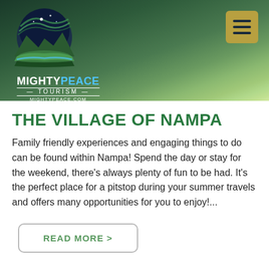[Figure (logo): MightyPeace Tourism logo with circular emblem showing mountain landscape with aurora and green terrain, text reads MIGHTYPEACE TOURISM MIGHTYPEACE.COM]
THE VILLAGE OF NAMPA
Family friendly experiences and engaging things to do can be found within Nampa! Spend the day or stay for the weekend, there’s always plenty of fun to be had. It’s the perfect place for a pitstop during your summer travels and offers many opportunities for you to enjoy!...
READ MORE >